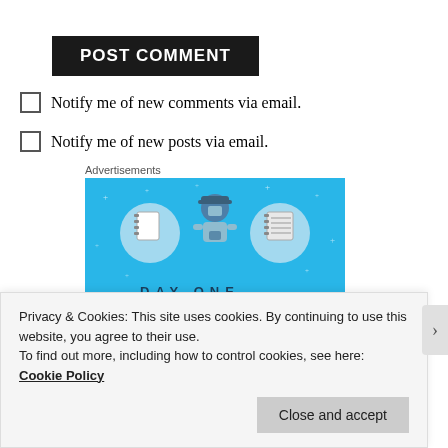POST COMMENT
Notify me of new comments via email.
Notify me of new posts via email.
Advertisements
[Figure (illustration): Day One app advertisement with blue background, showing a person holding a phone with notebook icons on sides and 'DAY ONE' text at bottom]
Privacy & Cookies: This site uses cookies. By continuing to use this website, you agree to their use.
To find out more, including how to control cookies, see here: Cookie Policy
Close and accept